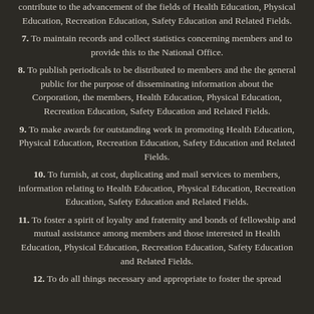contribute to the advancement of the fields of Health Education, Physical Education, Recreation Education, Safety Education and Related Fields.
7. To maintain records and collect statistics concerning members and to provide this to the National Office.
8. To publish periodicals to be distributed to members and the the general public for the purpose of disseminating information about the Corporation, the members, Health Education, Physical Education, Recreation Education, Safety Education and Related Fields.
9. To make awards for outstanding work in promoting Health Education, Physical Education, Recreation Education, Safety Education and Related Fields.
10. To furnish, at cost, duplicating and mail services to members, information relating to Health Education, Physical Education, Recreation Education, Safety Education and Related Fields.
11. To foster a spirit of loyalty and fraternity and bonds of fellowship and mutual assistance among members and those interested in Health Education, Physical Education, Recreation Education, Safety Education and Related Fields.
12. To do all things necessary and appropriate to foster the spread